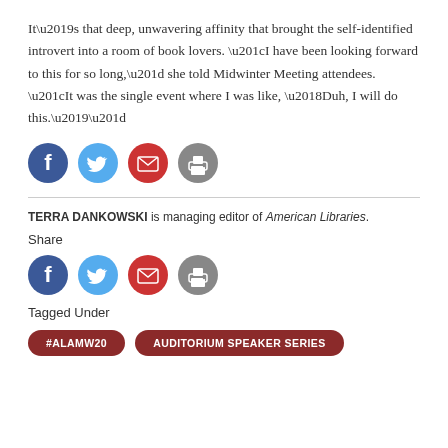It’s that deep, unwavering affinity that brought the self-identified introvert into a room of book lovers. “I have been looking forward to this for so long,” she told Midwinter Meeting attendees. “It was the single event where I was like, ‘Duh, I will do this.’”
[Figure (infographic): Row of four social share icons: Facebook (blue circle with f), Twitter (light blue circle with bird), Email (red circle with envelope), Print (gray circle with printer)]
TERRA DANKOWSKI is managing editor of American Libraries.
Share
[Figure (infographic): Row of four social share icons: Facebook (blue circle with f), Twitter (light blue circle with bird), Email (red circle with envelope), Print (gray circle with printer)]
Tagged Under
#ALAMW20   AUDITORIUM SPEAKER SERIES